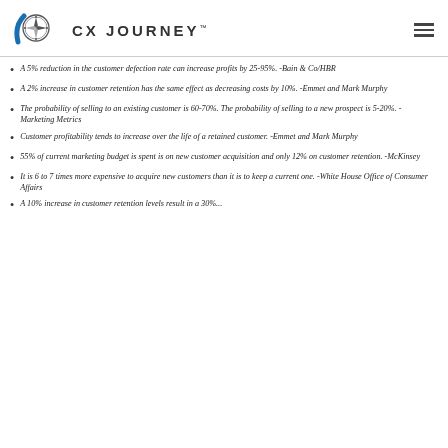CX JOURNEY™
A 5% reduction in the customer defection rate can increase profits by 25-95%. -Bain & Co/HBR
A 2% increase in customer retention has the same effect as decreasing costs by 10%. -Emmet and Mark Murphy
The probability of selling to an existing customer is 60-70%. The probability of selling to a new prospect is 5-20%. -Marketing Metrics
Customer profitability tends to increase over the life of a retained customer. -Emmet and Mark Murphy
55% of current marketing budget is spent is on new customer acquisition and only 12% on customer retention. -McKinsey
It is 6 to 7 times more expensive to acquire new customers than it is to keep a current one. -White House Office of Consumer Affairs
A 10% increase in customer retention levels result in a 30%...